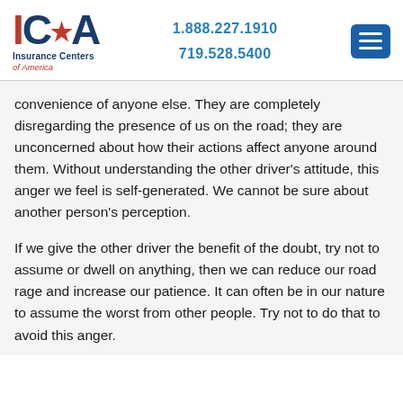[Figure (logo): ICA Insurance Centers of America logo with red and blue lettering]
1.888.227.1910
719.528.5400
[Figure (other): Blue hamburger menu button icon]
convenience of anyone else. They are completely disregarding the presence of us on the road; they are unconcerned about how their actions affect anyone around them. Without understanding the other driver's attitude, this anger we feel is self-generated. We cannot be sure about another person's perception.
If we give the other driver the benefit of the doubt, try not to assume or dwell on anything, then we can reduce our road rage and increase our patience. It can often be in our nature to assume the worst from other people. Try not to do that to avoid this anger.